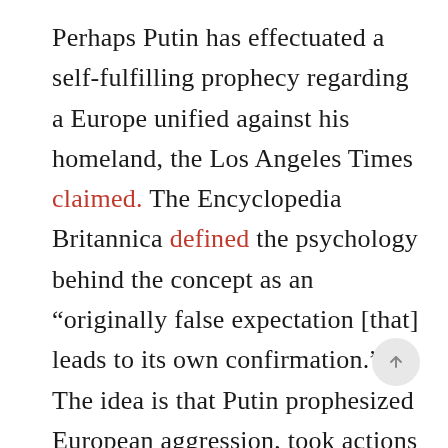Perhaps Putin has effectuated a self-fulfilling prophecy regarding a Europe unified against his homeland, the Los Angeles Times claimed. The Encyclopedia Britannica defined the psychology behind the concept as an “originally false expectation [that] leads to its own confirmation.” The idea is that Putin prophesized European aggression, took actions to counter it in Ukraine and thereby forced Europeans to become more